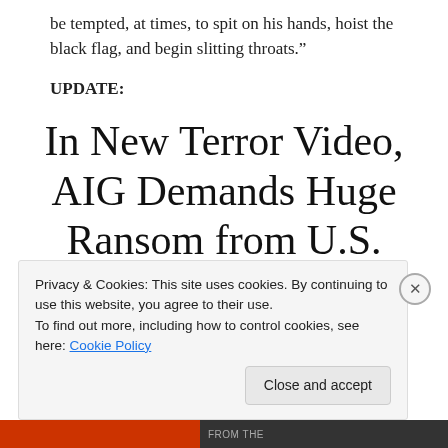be tempted, at times, to spit on his hands, hoist the black flag, and begin slitting throats."
UPDATE:
In New Terror Video, AIG Demands Huge Ransom from U.S.
Privacy & Cookies: This site uses cookies. By continuing to use this website, you agree to their use.
To find out more, including how to control cookies, see here: Cookie Policy